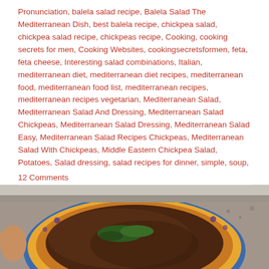Pronunciation, balela salad recipe, Balela Salad The Mediterranean Dish, best balela recipe, chickpea salad, chickpea salad recipe, chickpeas recipe, Cooking, cooking secrets for men, Cooking Websites, cookingsecretsformen, feta, feta cheese, Interesting salad combinations, Italian, mediterranean diet, mediterranean diet recipes, mediterranean food, mediterranean food list, mediterranean recipes, mediterranean recipes vegetarian, Mediterranean Salad, Mediterranean Salad And Dressing, Mediterranean Salad Chickpeas, Mediterranean Salad Dressing, Mediterranean Salad Easy, Mediterranean Salad Recipes Chickpeas, Mediterranean Salad With Chickpeas, Middle Eastern Chickpea Salad, Potatoes, Salad dressing, salad recipes for dinner, simple, soup, vegetarian
12 Comments
[Figure (photo): A close-up photo of a bowl of Mediterranean-style soup or stew with visible herbs (green basil or parsley) on top, served in a decorative plate with blue and orange/yellow rim pattern. A hand is partially visible at the left edge. The background shows a granite countertop surface.]